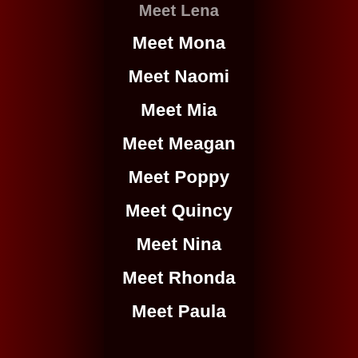Meet Lena
Meet Mona
Meet Naomi
Meet Mia
Meet Meagan
Meet Poppy
Meet Quincy
Meet Nina
Meet Rhonda
Meet Paula